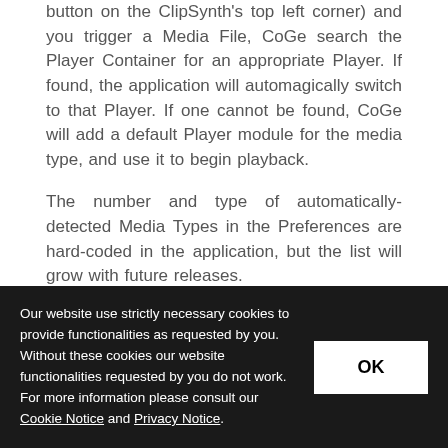button on the ClipSynth's top left corner) and you trigger a Media File, CoGe search the Player Container for an appropriate Player. If found, the application will automagically switch to that Player. If one cannot be found, CoGe will add a default Player module for the media type, and use it to begin playback.
The number and type of automatically-detected Media Types in the Preferences are hard-coded in the application, but the list will grow with future releases.
[Figure (screenshot): Screenshot of a macOS window titled 'Auto Player Select' with a purple/pink starfield background. Window has standard macOS traffic light buttons (red, grey, grey) at top left.]
Our website use strictly necessary cookies to provide functionalities as requested by you. Without these cookies our website functionalities requested by you do not work. For more information please consult our Cookie Notice and Privacy Notice.